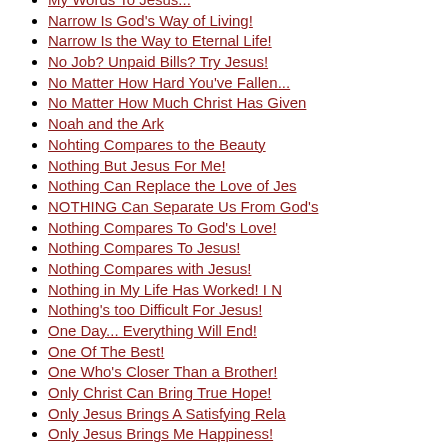My Words To Jesus...
Narrow Is God's Way of Living!
Narrow Is the Way to Eternal Life!
No Job? Unpaid Bills? Try Jesus!
No Matter How Hard You've Fallen...
No Matter How Much Christ Has Given
Noah and the Ark
Nohting Compares to the Beauty
Nothing But Jesus For Me!
Nothing Can Replace the Love of Jes
NOTHING Can Separate Us From God's
Nothing Compares To God's Love!
Nothing Compares To Jesus!
Nothing Compares with Jesus!
Nothing in My Life Has Worked! I N
Nothing's too Difficult For Jesus!
One Day... Everything Will End!
One Of The Best!
One Who's Closer Than a Brother!
Only Christ Can Bring True Hope!
Only Jesus Brings A Satisfying Rela
Only Jesus Brings Me Happiness!
Only Jesus Brings True Contentment!
Only Jesus Brings True Hope and Pea
Only Jesus Can Bring the Victory!
Only Jesus Can Satisfy My Soul!
Only Jesus Can Satisfy What People
Only Jesus Can Set Me Free!
Only Jesus Gives A Purpose and Hope
Only Jesus Gives TRUE Love!